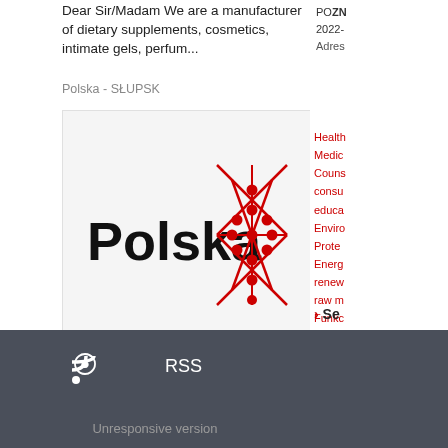Dear Sir/Madam We are a manufacturer of dietary supplements, cosmetics, intimate gels, perfum...
Polska - SŁUPSK
[Figure (logo): Polska brand logo with red geometric snowflake/diamond pattern and bold black text 'Polska']
See more offers
RSS
Unresponsive version
POZN 2022- Adres Health Medic Couns consu educa Enviro Prote Energ renew raw m Funkc proku
> Se